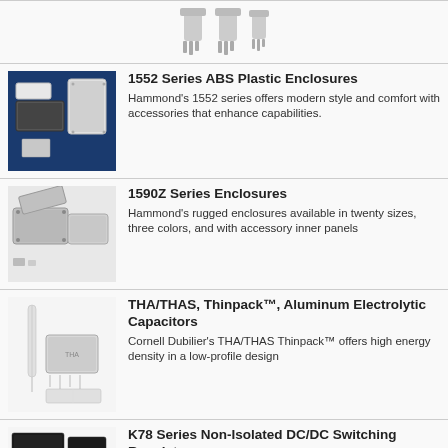[Figure (photo): Partial view of electronic component at top of page]
[Figure (photo): 1552 Series ABS Plastic Enclosures - various sizes of plastic enclosures on blue background]
1552 Series ABS Plastic Enclosures
Hammond's 1552 series offers modern style and comfort with accessories that enhance capabilities.
[Figure (photo): 1590Z Series Enclosures - rugged metal enclosures open and closed]
1590Z Series Enclosures
Hammond's rugged enclosures available in twenty sizes, three colors, and with accessory inner panels
[Figure (photo): THA/THAS Thinpack Aluminum Electrolytic Capacitors - thin cylindrical and flat capacitors]
THA/THAS, Thinpack™, Aluminum Electrolytic Capacitors
Cornell Dubilier's THA/THAS Thinpack™ offers high energy density in a low-profile design
[Figure (photo): K78 Series Non-Isolated DC/DC Switching Regulator - various black SMD components]
K78 Series Non-Isolated DC/DC Switching Regulator
Mornsun's K78 series is a high-efficiency switching regulator with the packages of SiP, SMD, or DFN.